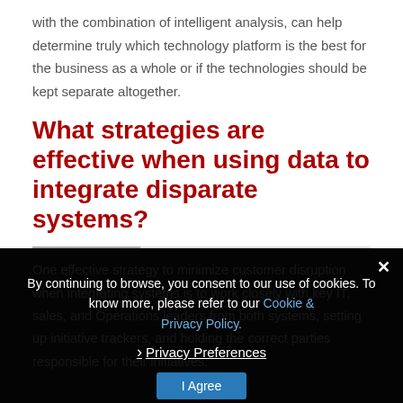with the combination of intelligent analysis, can help determine truly which technology platform is the best for the business as a whole or if the technologies should be kept separate altogether.
What strategies are effective when using data to integrate disparate systems?
One effective strategy to minimize customer disruption when integrating systems is to work closely with key IT, sales, and Operations leaders from both systems, setting up initiative trackers, and holding the correct parties responsible for their initiatives.
By continuing to browse, you consent to our use of cookies. To know more, please refer to our Cookie & Privacy Policy.